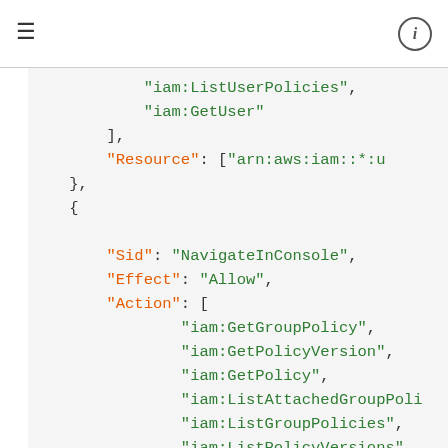≡   (i)
JSON/IAM policy code snippet showing iam:ListUserPolicies, iam:GetUser, Resource, }, {, Sid: NavigateInConsole, Effect: Allow, Action: [ iam:GetGroupPolicy, iam:GetPolicyVersion, iam:GetPolicy, iam:ListAttachedGroupPolicies, iam:ListGroupPolicies, iam:ListPolicyVersions, iam:ListPolicies, iam:ListUsers